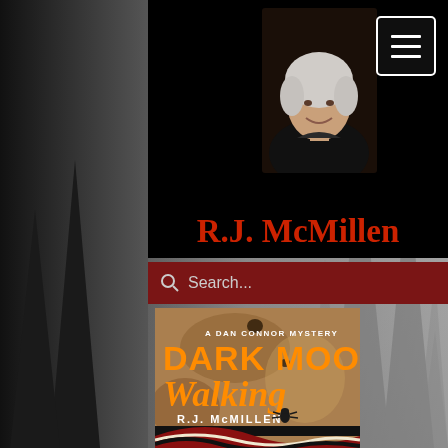[Figure (photo): Author photo of R.J. McMillen, white-haired woman smiling, against dark background]
[Figure (screenshot): Hamburger menu icon button (three horizontal lines) in a white-bordered rectangle]
R.J. McMillen
[Figure (other): Search bar with magnifying glass icon and placeholder text 'Search...' on dark red background]
[Figure (illustration): Book cover for 'Dark Moon Walking - A Dan Connor Mystery' by R.J. McMillen, showing Indigenous art motifs with orange and red lettering]